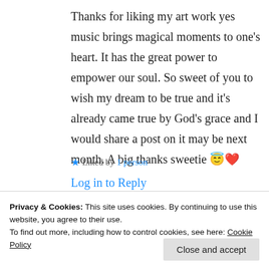Thanks for liking my art work yes music brings magical moments to one's heart. It has the great power to empower our soul. So sweet of you to wish my dream to be true and it's already came true by God's grace and I would share a post on it may be next month. A big thanks sweetie 😇❤️
★ Liked by 1 person
Log in to Reply
Privacy & Cookies: This site uses cookies. By continuing to use this website, you agree to their use. To find out more, including how to control cookies, see here: Cookie Policy
Close and accept